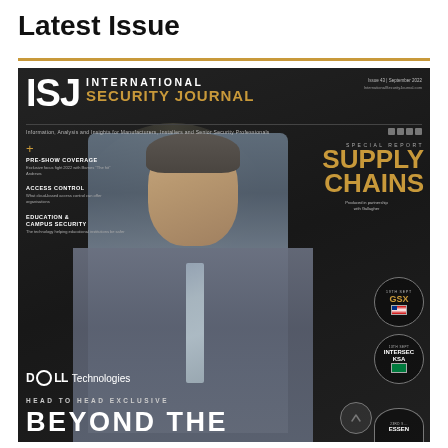Latest Issue
[Figure (photo): Cover of ISJ International Security Journal magazine, Issue 40, September 2022. Features a man in a grey suit on the cover. Headline reads 'BEYOND THE' with Dell Technologies branding. Special report on Supply Chains. Sidebar items: Pre-Show Coverage, Access Control, Education & Campus Security. Event stamps for GSX, Intersec KSA, and Essen.]